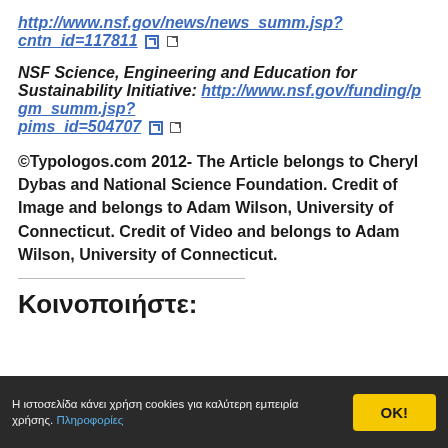http://www.nsf.gov/news/news_summ.jsp?cntn_id=117811
NSF Science, Engineering and Education for Sustainability Initiative: http://www.nsf.gov/funding/pgm_summ.jsp?pims_id=504707
©Typologos.com 2012- The Article belongs to Cheryl Dybas and National Science Foundation. Credit of Image and belongs to Adam Wilson, University of Connecticut. Credit of Video and belongs to Adam Wilson, University of Connecticut.
Κοινοποιήστε:
Η ιστοσελίδα κάνει χρήση cookies για καλύτερη εμπειρία χρήσης. Πληροφορίες OK!